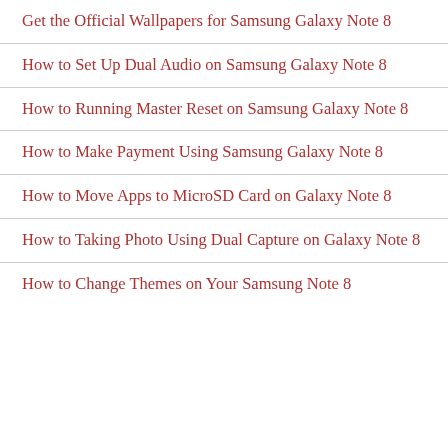Get the Official Wallpapers for Samsung Galaxy Note 8
How to Set Up Dual Audio on Samsung Galaxy Note 8
How to Running Master Reset on Samsung Galaxy Note 8
How to Make Payment Using Samsung Galaxy Note 8
How to Move Apps to MicroSD Card on Galaxy Note 8
How to Taking Photo Using Dual Capture on Galaxy Note 8
How to Change Themes on Your Samsung Note 8